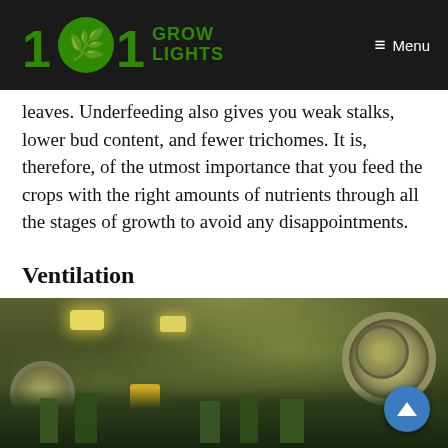[Figure (logo): 101 Grow Lights website logo with cannabis leaf icon on dark header bar, with Menu button on the right]
leaves. Underfeeding also gives you weak stalks, lower bud content, and fewer trichomes. It is, therefore, of the utmost importance that you feed the crops with the right amounts of nutrients through all the stages of growth to avoid any disappointments.
Ventilation
[Figure (photo): Indoor cannabis grow room with ventilation fans, grow lights, and cannabis plants visible]